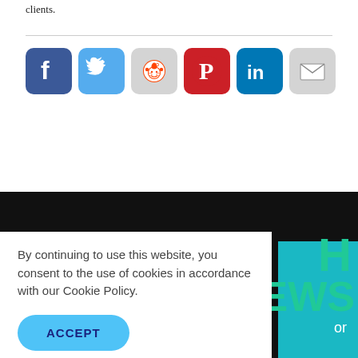clients.
[Figure (infographic): Row of social media sharing icons: Facebook (blue), Twitter (light blue), Reddit (grey), Pinterest (red), LinkedIn (dark blue), Email (grey)]
By continuing to use this website, you consent to the use of cookies in accordance with our Cookie Policy.
ACCEPT